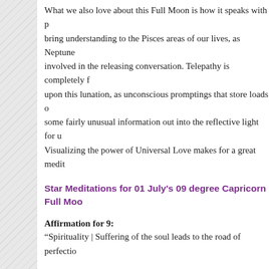What we also love about this Full Moon is how it speaks with p... bring understanding to the Pisces areas of our lives, as Neptune ... involved in the releasing conversation. Telepathy is completely f... upon this lunation, as unconscious promptings that store loads of... some fairly unusual information out into the reflective light for u... Visualizing the power of Universal Love makes for a great medit...
Star Meditations for 01 July's 09 degree Capricorn Full Moo...
Affirmation for 9:
“Spirituality | Suffering of the soul leads to the road of perfectio...
Divination for 9:
Hear Mars’s battle cry in the distance. As you forge ahead in yo... your goals, you clear every obstacle in your way and keep your e... your objective. You penetrate to the heart of the situation, with y... trust, using your powerful energy in a most positive way. Long a... contained in one of Linda Goodman’s favorite quotes: “Stubbor... initiates.” A good lesson to learn, and one that now declares the b...